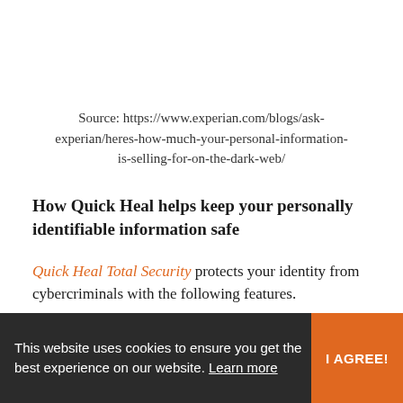Source: https://www.experian.com/blogs/ask-experian/heres-how-much-your-personal-information-is-selling-for-on-the-dark-web/
How Quick Heal helps keep your personally identifiable information safe
Quick Heal Total Security protects your identity from cybercriminals with the following features.
This website uses cookies to ensure you get the best experience on our website. Learn more | I AGREE!